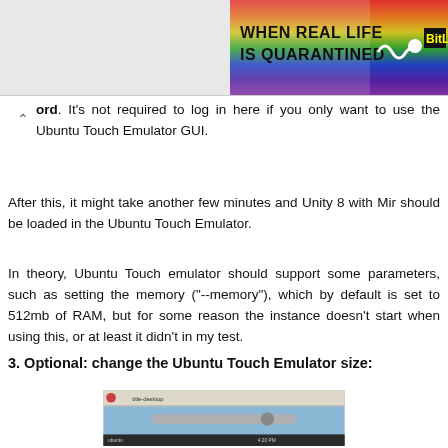[Figure (illustration): Rainbow-colored banner advertisement with text 'WHEN REAL LIFE IS QUARANTINED' and 'BitL' logo in yellow on black, with a white squiggle/sperm icon.]
ord. It's not required to log in here if you only want to use the Ubuntu Touch Emulator GUI.
After this, it might take another few minutes and Unity 8 with Mir should be loaded in the Ubuntu Touch Emulator.
In theory, Ubuntu Touch emulator should support some parameters, such as setting the memory ("--memory"), which by default is set to 512mb of RAM, but for some reason the instance doesn't start when using this, or at least it didn't in my test.
3. Optional: change the Ubuntu Touch Emulator size:
[Figure (screenshot): Screenshot of Ubuntu Touch Emulator size settings dialog with a slider control and taskbar.]